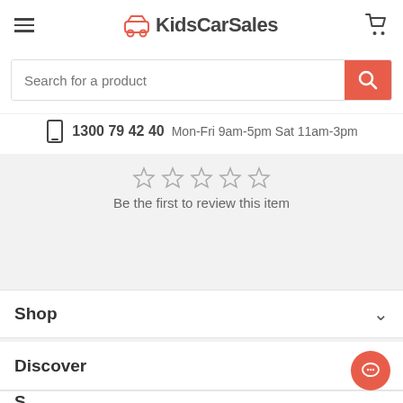KidsCarSales
Search for a product
1300 79 42 40   Mon-Fri 9am-5pm Sat 11am-3pm
Be the first to review this item
Shop
Discover